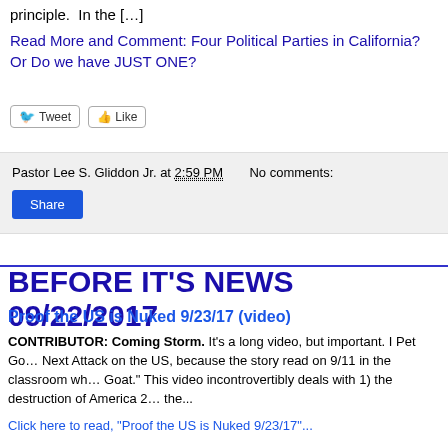principle.  In the […]
Read More and Comment: Four Political Parties in California? Or Do we have JUST ONE?
[Figure (other): Tweet and Like social sharing buttons]
Pastor Lee S. Gliddon Jr. at 2:59 PM    No comments:
Share
BEFORE IT'S NEWS 09/22/2017
Proof the US is Nuked 9/23/17 (video)
CONTRIBUTOR: Coming Storm. It's a long video, but important. I Pet Go… Next Attack on the US, because the story read on 9/11 in the classroom wh… Goat." This video incontrovertibly deals with 1) the destruction of America 2… the...
Click here to read, "Proof the US is Nuked 9/23/17"...